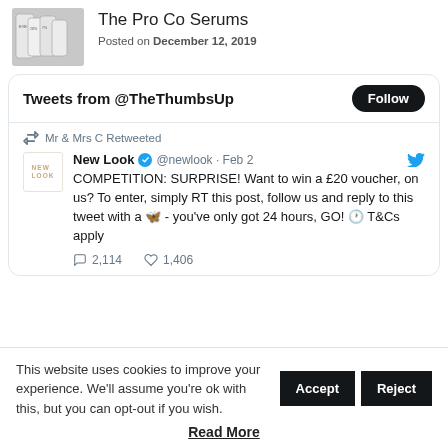[Figure (photo): Product image of Pro Co Serums bottles]
The Pro Co Serums
Posted on December 12, 2019
[Figure (screenshot): Twitter widget showing Tweets from @TheThumbsUp with a Follow button and a retweet from New Look @newlook Feb 2: COMPETITION: SURPRISE! Want to win a £20 voucher, on us? To enter, simply RT this post, follow us and reply to this tweet with a butterfly - you've only got 24 hours, GO! clock T&Cs apply. 2,114 comments 1,406 likes.]
This website uses cookies to improve your experience. We'll assume you're ok with this, but you can opt-out if you wish.
Read More